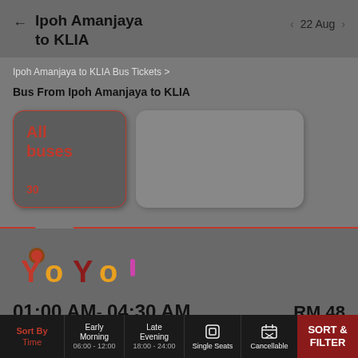Ipoh Amanjaya to KLIA   22 Aug
Ipoh Amanjaya to KLIA Bus Tickets >
Bus From Ipoh Amanjaya to KLIA
All buses
30
[Figure (logo): YOYO bus operator colorful logo with stylized letters]
01:00 AM- 04:30 AM   RM 48
3h 30m • 12 Seats • 3 Single Seats
Sort By Time   Early Morning 06:00 - 12:00   Late Evening 18:00 - 24:00   Single Seats   Cancellable   SORT & FILTER